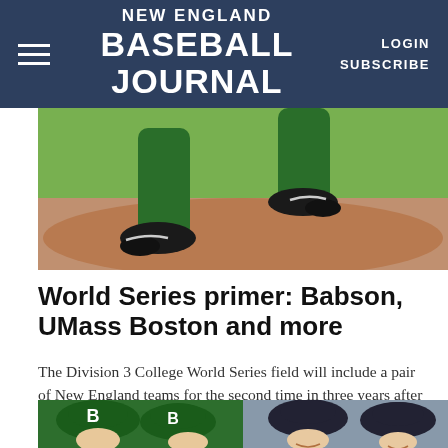NEW ENGLAND BASEBALL JOURNAL | LOGIN | SUBSCRIBE
[Figure (photo): Close-up photo of a baseball pitcher's legs and feet in green pants and black cleats, mid-delivery on a pitcher's mound with dirt visible]
World Series primer: Babson, UMass Boston and more
The Division 3 College World Series field will include a pair of New England teams for the second time in three years after Babson and...
[Figure (photo): Players wearing green Babson baseball caps and dark baseball caps, smiling, partial view cut off at bottom of page]